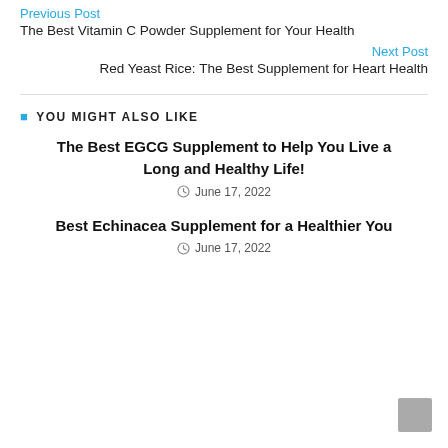Previous Post
The Best Vitamin C Powder Supplement for Your Health
Next Post
Red Yeast Rice: The Best Supplement for Heart Health
YOU MIGHT ALSO LIKE
The Best EGCG Supplement to Help You Live a Long and Healthy Life!
June 17, 2022
Best Echinacea Supplement for a Healthier You
June 17, 2022